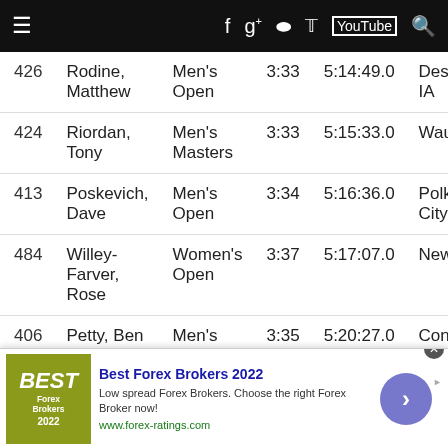Navigation bar with menu and social icons
| # | Name | Category | Wave | Time | Location |
| --- | --- | --- | --- | --- | --- |
| 426 | Rodine, Matthew | Men's Open | 3:33 | 5:14:49.0 | Des Mo IA |
| 424 | Riordan, Tony | Men's Masters | 3:33 | 5:15:33.0 | Waukee |
| 413 | Poskevich, Dave | Men's Open | 3:34 | 5:16:36.0 | Polk City |
| 484 | Willey-Farver, Rose | Women's Open | 3:37 | 5:17:07.0 | Newton |
| 406 | Petty, Ben | Men's Open | 3:35 | 5:20:27.0 | Conrad, |
| 277 | Bond, Gregory | Men's Open | 3:35 | 5:20:52.0 | Rochest MN |
[Figure (infographic): Advertisement: Best Forex Brokers 2022 banner with logo, description, and arrow button]